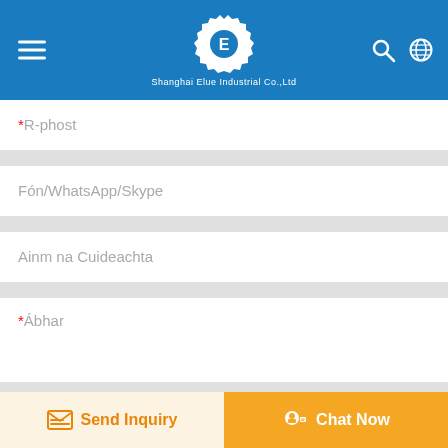Shanghai Elue Industrial Co.,Ltd
*R-phost
Fón/WhatsApp/Skype
Ainm na Cuideachta
*Ábhar
Ceangaltán:
Send Inquiry
Chat Now